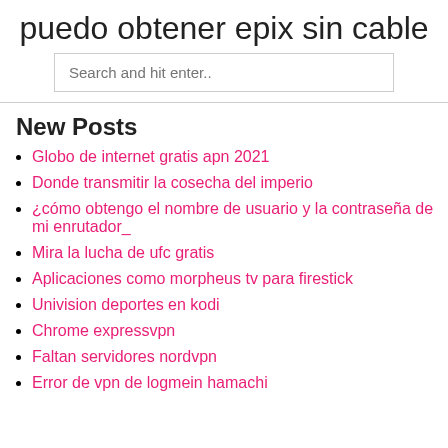puedo obtener epix sin cable
Search and hit enter..
New Posts
Globo de internet gratis apn 2021
Donde transmitir la cosecha del imperio
¿cómo obtengo el nombre de usuario y la contraseña de mi enrutador_
Mira la lucha de ufc gratis
Aplicaciones como morpheus tv para firestick
Univision deportes en kodi
Chrome expressvpn
Faltan servidores nordvpn
Error de vpn de logmein hamachi